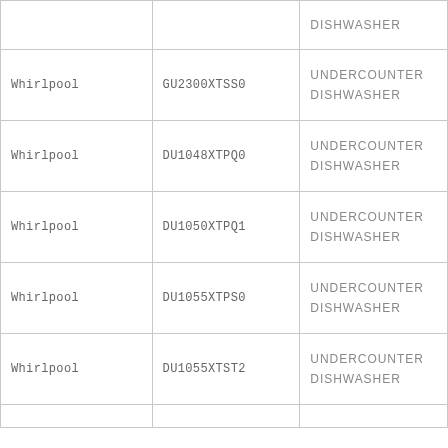|  |  | DISHWASHER |
| Whirlpool | GU2300XTSS0 | UNDERCOUNTER
DISHWASHER |
| Whirlpool | DU1048XTPQ0 | UNDERCOUNTER
DISHWASHER |
| Whirlpool | DU1050XTPQ1 | UNDERCOUNTER
DISHWASHER |
| Whirlpool | DU1055XTPS0 | UNDERCOUNTER
DISHWASHER |
| Whirlpool | DU1055XTST2 | UNDERCOUNTER
DISHWASHER |
|  |  |  |